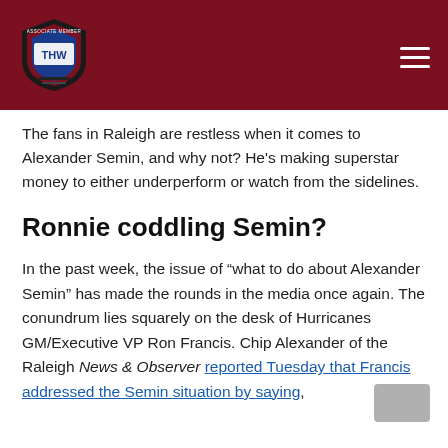THW logo and navigation header
The fans in Raleigh are restless when it comes to Alexander Semin, and why not? He's making superstar money to either underperform or watch from the sidelines.
Ronnie coddling Semin?
In the past week, the issue of “what to do about Alexander Semin” has made the rounds in the media once again. The conundrum lies squarely on the desk of Hurricanes GM/Executive VP Ron Francis. Chip Alexander of the Raleigh News & Observer reported Tuesday that Francis addressed the Semin situation by saying,